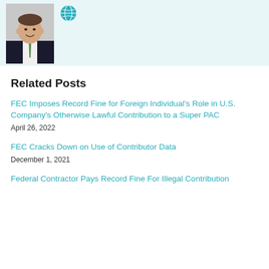[Figure (photo): Professional headshot of a man in a dark suit with a green tie, smiling, against a light background. A teal globe icon is visible to the right of the photo.]
Related Posts
FEC Imposes Record Fine for Foreign Individual's Role in U.S. Company's Otherwise Lawful Contribution to a Super PAC
April 26, 2022
FEC Cracks Down on Use of Contributor Data
December 1, 2021
Federal Contractor Pays Record Fine For Illegal Contribution